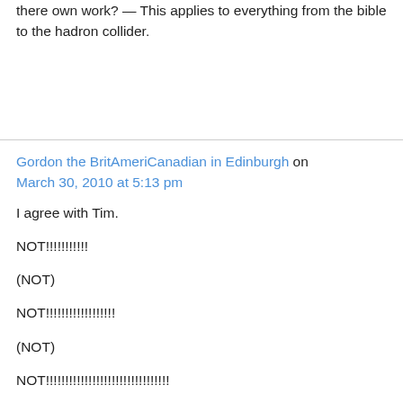there own work? — This applies to everything from the bible to the hadron collider.
Gordon the BritAmeriCanadian in Edinburgh on March 30, 2010 at 5:13 pm
I agree with Tim.

NOT!!!!!!!!!!!

(NOT)

NOT!!!!!!!!!!!!!!!!!!

(NOT)

NOT!!!!!!!!!!!!!!!!!!!!!!!!!!!!!!!!

Off to live in the Open Sewer. With my